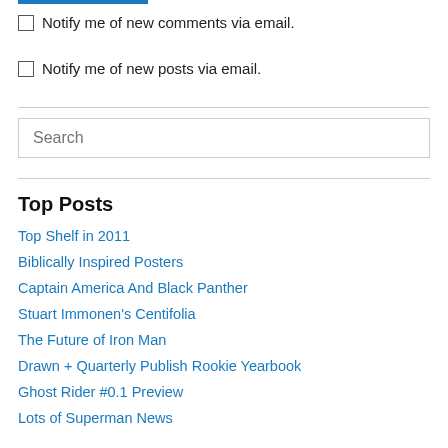Notify me of new comments via email.
Notify me of new posts via email.
Search
Top Posts
Top Shelf in 2011
Biblically Inspired Posters
Captain America And Black Panther
Stuart Immonen's Centifolia
The Future of Iron Man
Drawn + Quarterly Publish Rookie Yearbook
Ghost Rider #0.1 Preview
Lots of Superman News